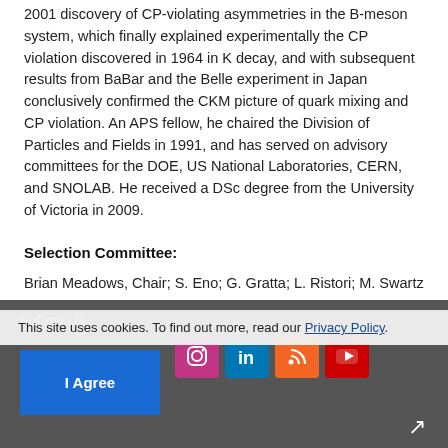2001 discovery of CP-violating asymmetries in the B-meson system, which finally explained experimentally the CP violation discovered in 1964 in K decay, and with subsequent results from BaBar and the Belle experiment in Japan conclusively confirmed the CKM picture of quark mixing and CP violation. An APS fellow, he chaired the Division of Particles and Fields in 1991, and has served on advisory committees for the DOE, US National Laboratories, CERN, and SNOLAB. He received a DSc degree from the University of Victoria in 2009.
Selection Committee:
Brian Meadows, Chair; S. Eno; G. Gratta; L. Ristori; M. Swartz
Miniaturized Biosensors for Healthcare (video)
[Figure (screenshot): Website footer with dark grey background showing Follow Us label, social media icons (Facebook, Twitter, Instagram, LinkedIn, RSS, YouTube), cookie consent banner with Privacy Policy link and I Agree button, and Engage label.]